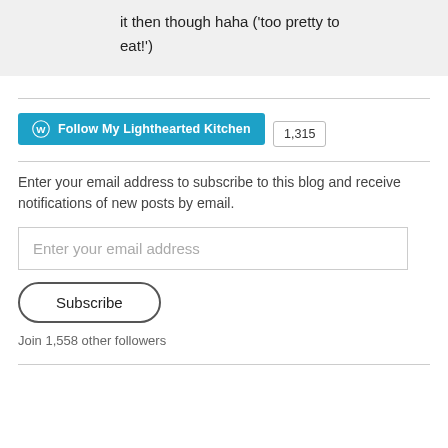it then though haha ('too pretty to eat!')
[Figure (other): Follow My Lighthearted Kitchen WordPress follow button with count 1,315]
Enter your email address to subscribe to this blog and receive notifications of new posts by email.
Enter your email address
Subscribe
Join 1,558 other followers